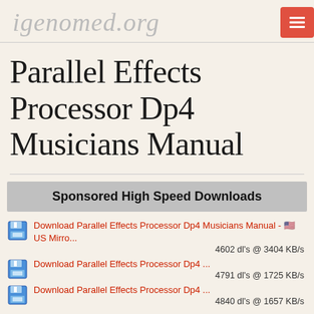igenomed.org
Parallel Effects Processor Dp4 Musicians Manual
Sponsored High Speed Downloads
Download Parallel Effects Processor Dp4 Musicians Manual - 🇺🇸 US Mirro... 4602 dl's @ 3404 KB/s
Download Parallel Effects Processor Dp4 ... 4791 dl's @ 1725 KB/s
Download Parallel Effects Processor Dp4 ... 4840 dl's @ 1657 KB/s